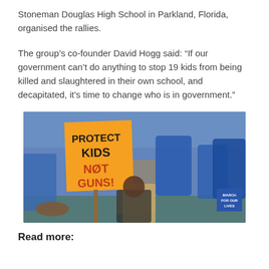Stoneman Douglas High School in Parkland, Florida, organised the rallies.
The group's co-founder David Hogg said: “If our government can’t do anything to stop 19 kids from being killed and slaughtered in their own school, and decapitated, it’s time to change who is in government.”
[Figure (photo): Crowd of protesters at a March for Our Lives rally; a prominent orange sign reads PROTECT KIDS NOT GUNS! Many participants wear blue shirts.]
Read more: